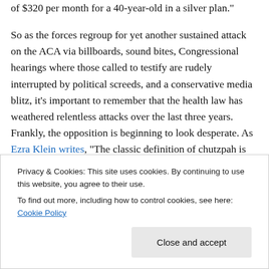of $320 per month for a 40-year-old in a silver plan."

So as the forces regroup for yet another sustained attack on the ACA via billboards, sound bites, Congressional hearings where those called to testify are rudely interrupted by political screeds, and a conservative media blitz, it's important to remember that the health law has weathered relentless attacks over the last three years. Frankly, the opposition is beginning to look desperate. As Ezra Klein writes, “The classic definition of chutzpah is the child who kills his parents and then asks for leniency
Privacy & Cookies: This site uses cookies. By continuing to use this website, you agree to their use.
To find out more, including how to control cookies, see here: Cookie Policy